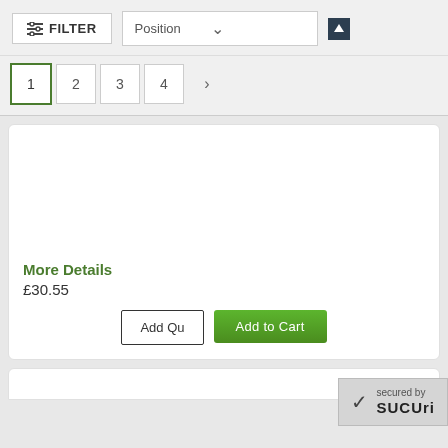[Figure (screenshot): Filter button with sliders icon and FILTER label]
Position
1 2 3 4 >
More Details
£30.55
Add Qu
Add to Cart
secured by SUCURI